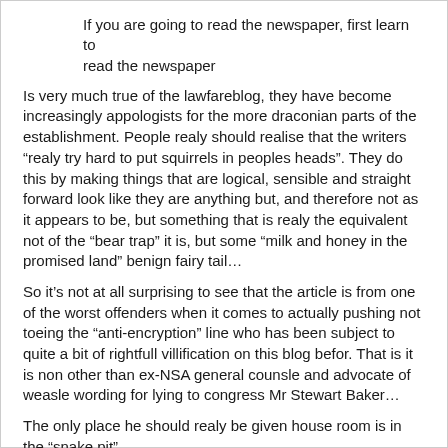If you are going to read the newspaper, first learn to read the newspaper
Is very much true of the lawfareblog, they have become increasingly appologists for the more draconian parts of the establishment. People realy should realise that the writers “realy try hard to put squirrels in peoples heads”. They do this by making things that are logical, sensible and straight forward look like they are anything but, and therefore not as it appears to be, but something that is realy the equivalent not of the “bear trap” it is, but some “milk and honey in the promised land” benign fairy tail…
So it’s not at all surprising to see that the article is from one of the worst offenders when it comes to actually pushing not toeing the “anti-encryption” line who has been subject to quite a bit of rightfull villification on this blog befor. That is it is non other than ex-NSA general counsle and advocate of weasle wording for lying to congress Mr Stewart Baker…
The only place he should realy be given house room is in the “snake pit”.